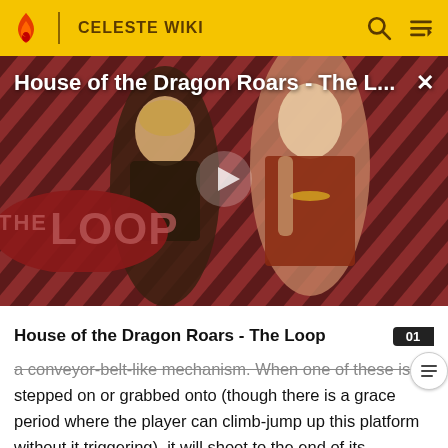CELESTE WIKI
[Figure (screenshot): Video thumbnail for 'House of the Dragon Roars - The L...' showing two characters from House of the Dragon TV show with a red/black diagonal stripe background and THE LOOP logo overlay, with a play button in the center and a close (X) button in the top right.]
House of the Dragon Roars - The Loop
a conveyor-belt-like mechanism. When one of these is stepped on or grabbed onto (though there is a grace period where the player can climb-jump up this platform without it triggering), it will shoot to the end of its